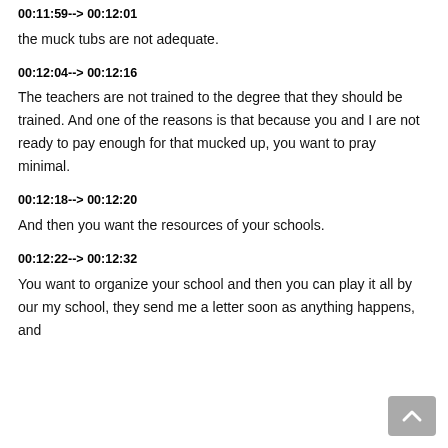00:11:59--> 00:12:01
the muck tubs are not adequate.
00:12:04--> 00:12:16
The teachers are not trained to the degree that they should be trained. And one of the reasons is that because you and I are not ready to pay enough for that mucked up, you want to pray minimal.
00:12:18--> 00:12:20
And then you want the resources of your schools.
00:12:22--> 00:12:32
You want to organize your school and then you can play it all by our my school, they send me a letter soon as anything happens, and